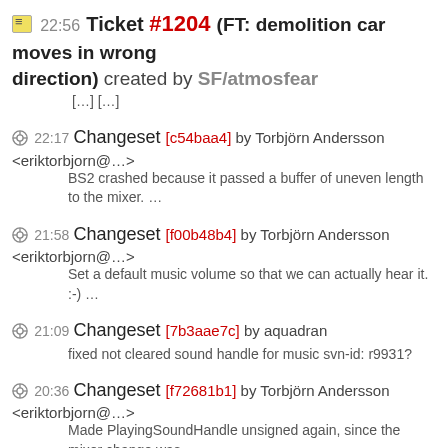22:56 Ticket #1204 (FT: demolition car moves in wrong direction) created by SF/atmosfear [...] [...]
22:17 Changeset [c54baa4] by Torbjörn Andersson <eriktorbjorn@...>
BS2 crashed because it passed a buffer of uneven length to the mixer. …
21:58 Changeset [f00b48b4] by Torbjörn Andersson <eriktorbjorn@...>
Set a default music volume so that we can actually hear it. :-) …
21:09 Changeset [7b3aae7c] by aquadran
fixed not cleared sound handle for music svn-id: r9931?
20:36 Changeset [f72681b1] by Torbjörn Andersson <eriktorbjorn@...>
Made PlayingSoundHandle unsigned again, since the mixer change was …
20:35 Changeset [dfe5d067] by Torbjörn Andersson <eriktorbjorn@...>